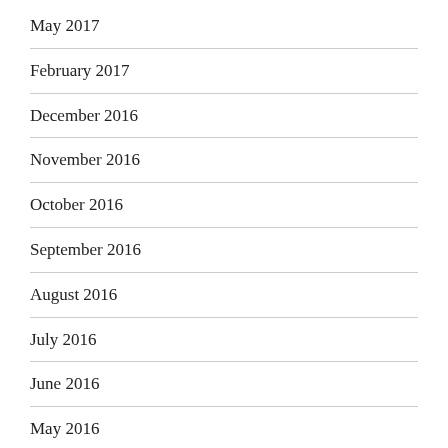May 2017
February 2017
December 2016
November 2016
October 2016
September 2016
August 2016
July 2016
June 2016
May 2016
June 2010